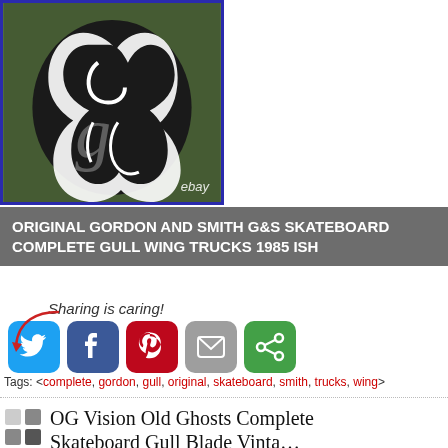[Figure (photo): Photo of a G&S skateboard sticker/logo on dark background with eBay watermark, framed with blue border]
ORIGINAL GORDON AND SMITH G&S SKATEBOARD COMPLETE GULL WING TRUCKS 1985 ISH
[Figure (infographic): Sharing is caring! social sharing buttons for Twitter, Facebook, Pinterest, Email, and More Options]
Tags: <complete, gordon, gull, original, skateboard, smith, trucks, wing>
OG Vision Old Ghosts Complete Skateboard Gull Blade Vintage